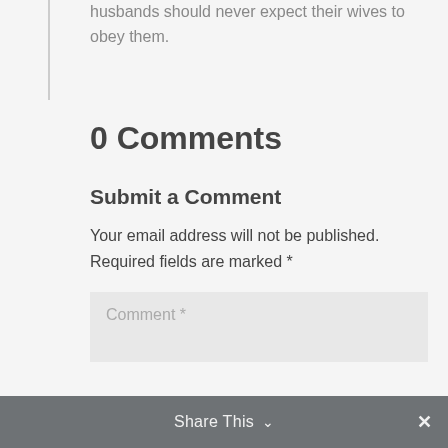husbands should never expect their wives to obey them.
0 Comments
Submit a Comment
Your email address will not be published. Required fields are marked *
Comment *
Share This  ✓  ✕